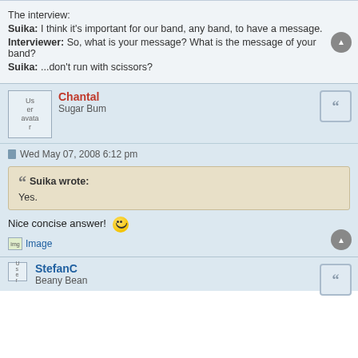The interview:
Suika: I think it's important for our band, any band, to have a message.
Interviewer: So, what is your message? What is the message of your band?
Suika: ...don't run with scissors?
Chantal
Sugar Bum
Wed May 07, 2008 6:12 pm
Suika wrote:
Yes.
Nice concise answer! 😄
[Figure (other): Image link placeholder]
StefanC
Beany Bean